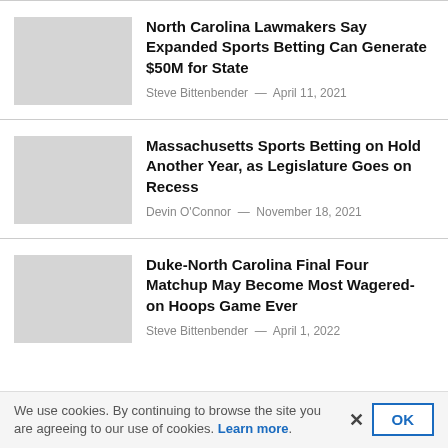North Carolina Lawmakers Say Expanded Sports Betting Can Generate $50M for State
Steve Bittenbender — April 11, 2021
Massachusetts Sports Betting on Hold Another Year, as Legislature Goes on Recess
Devin O'Connor — November 18, 2021
Duke-North Carolina Final Four Matchup May Become Most Wagered-on Hoops Game Ever
Steve Bittenbender — April 1, 2022
We use cookies. By continuing to browse the site you are agreeing to our use of cookies. Learn more.